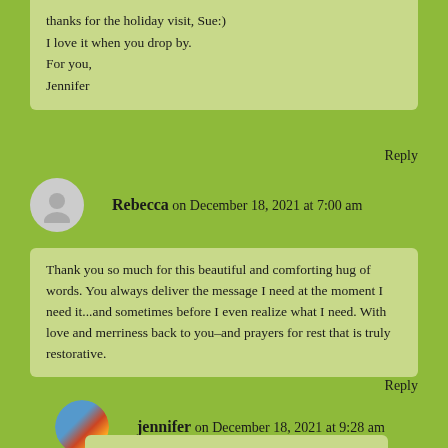thanks for the holiday visit, Sue:)
I love it when you drop by.
For you,
Jennifer
Reply
Rebecca on December 18, 2021 at 7:00 am
Thank you so much for this beautiful and comforting hug of words. You always deliver the message I need at the moment I need it...and sometimes before I even realize what I need. With love and merriness back to you–and prayers for rest that is truly restorative.
Reply
jennifer on December 18, 2021 at 9:28 am